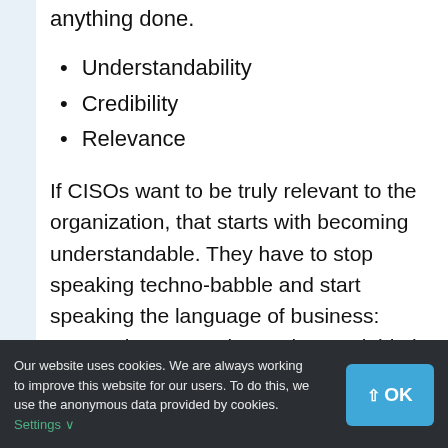anything done.
Understandability
Credibility
Relevance
If CISOs want to be truly relevant to the organization, that starts with becoming understandable. They have to stop speaking techno-babble and start speaking the language of business: economics. Becoming understandable is a step towards becoming credible. But being credible also requires
Our website uses cookies. We are always working to improve this website for our users. To do this, we use the anonymous data provided by cookies. Settings ∨